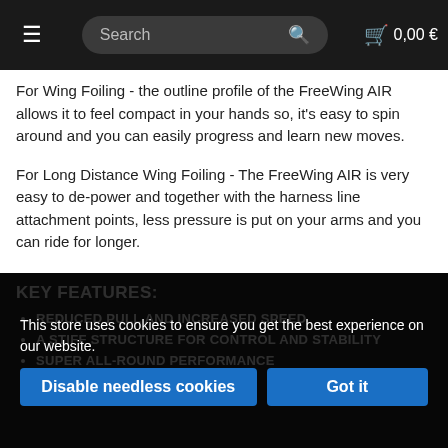≡   Search 🔍   🛒 0,00 €
For Wing Foiling - the outline profile of the FreeWing AIR allows it to feel compact in your hands so, it's easy to spin around and you can easily progress and learn new moves.
For Long Distance Wing Foiling - The FreeWing AIR is very easy to de-power and together with the harness line attachment points, less pressure is put on your arms and you can ride for longer.
With the size range from 2m - 8m, you can enjoy winging any day in all conditions from 7 knots to 50+ knots.
KEY FEATURES:
REDUCED PULL AND INCREASED SPEED
A STIFF STRUCTURE FOR CONTROL AND STABILITY
SUPER ALL-ROUND PERFORMANCE
This store uses cookies to ensure you get the best experience on our website.